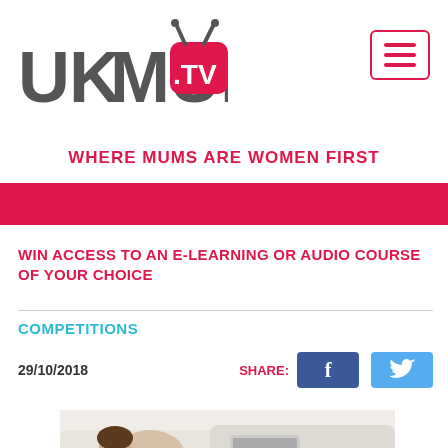[Figure (logo): UKMUMS.TV logo with pink TV icon]
[Figure (other): Hamburger menu icon with three horizontal lines in a pink-bordered box]
WHERE MUMS ARE WOMEN FIRST
[Figure (other): Hot pink horizontal banner strip]
WIN ACCESS TO AN E-LEARNING OR AUDIO COURSE OF YOUR CHOICE
COMPETITIONS
29/10/2018
[Figure (other): Share buttons: Facebook (dark blue) and Twitter (light blue)]
[Figure (photo): Partial photo of a woman relaxing on a sofa with a laptop]